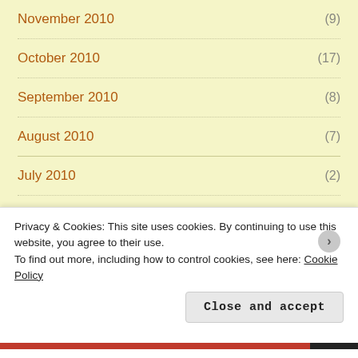November 2010 (9)
October 2010 (17)
September 2010 (8)
August 2010 (7)
July 2010 (2)
June 2010 (3)
May 2010 (7)
Privacy & Cookies: This site uses cookies. By continuing to use this website, you agree to their use.
To find out more, including how to control cookies, see here: Cookie Policy
Close and accept